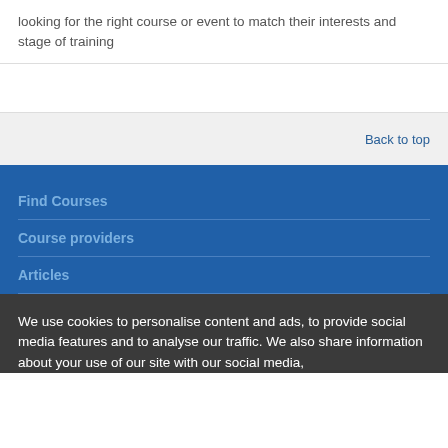looking for the right course or event to match their interests and stage of training
Back to top
Find Courses
Course providers
Articles
We use cookies to personalise content and ads, to provide social media features and to analyse our traffic. We also share information about your use of our site with our social media,